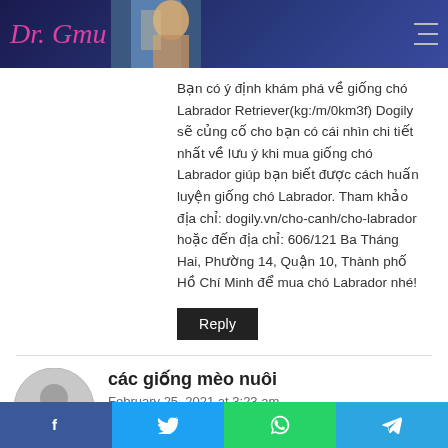Dr. Gmu [website header with logo and host image]
Bạn có ý định khám phá về giống chó Labrador Retriever(kg:/m/0km3f) Dogily sẽ củng cố cho bạn có cái nhìn chi tiết nhất về lưu ý khi mua giống chó Labrador giúp bạn biết được cách huấn luyện giống chó Labrador. Tham khảo địa chỉ: dogily.vn/cho-canh/cho-labrador hoặc đến địa chỉ: 606/121 Ba Tháng Hai, Phường 14, Quận 10, Thành phố Hồ Chí Minh để mua chó Labrador nhé!
Reply
các giống mèo nuôi
February 25, 2021 at 3:23 am
Bạn có biết các giống mèo hiện nay chưa. Mèo là vật
f  ✓  ⊕  ✈